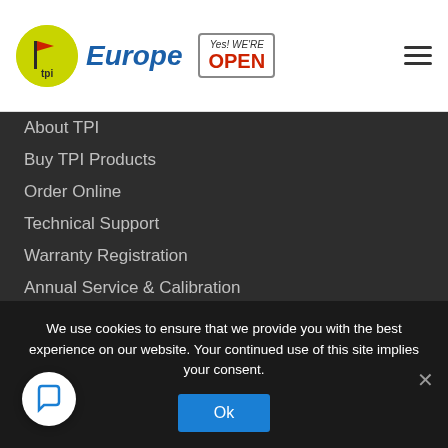[Figure (logo): TPI Europe logo with yellow-green circle containing TPI flag icon, blue italic 'Europe' text, and a 'Yes! WE'RE OPEN' badge]
About TPI
Buy TPI Products
Order Online
Technical Support
Warranty Registration
Annual Service & Calibration
Faults & Repairs
ISOQAR Certification
RoHS Compliance
Software Downloads
Upcoming Events
TPI Europe Distributors
We use cookies to ensure that we provide you with the best experience on our website. Your continued use of this site implies your consent.